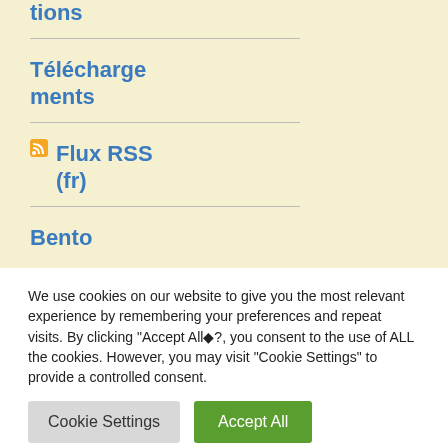tions
Téléchargements
Flux RSS (fr)
Bento
We use cookies on our website to give you the most relevant experience by remembering your preferences and repeat visits. By clicking "Accept All◆?, you consent to the use of ALL the cookies. However, you may visit "Cookie Settings" to provide a controlled consent.
Cookie Settings
Accept All